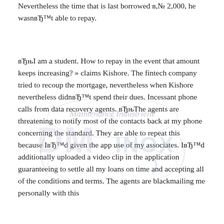Nevertheless the time that is last borrowed в,№ 2,000, he wasnвЂ™t able to repay.
вЂњI am a student. How to repay in the event that amount keeps increasing? » claims Kishore. The fintech company tried to recoup the mortgage, nevertheless when Kishore nevertheless didnвЂ™t spend their dues. Incessant phone calls from data recovery agents. вЂњThe agents are threatening to notify most of the contacts back at my phone concerning the standard. They are able to repeat this because IвЂ™d given the app use of my associates. IвЂ™d additionally uploaded a video clip in the application guaranteeing to settle all my loans on time and accepting all of the conditions and terms. The agents are blackmailing me personally with this
[Figure (logo): DM Inox Maintenance Industrielle watermark logo overlaid on text]